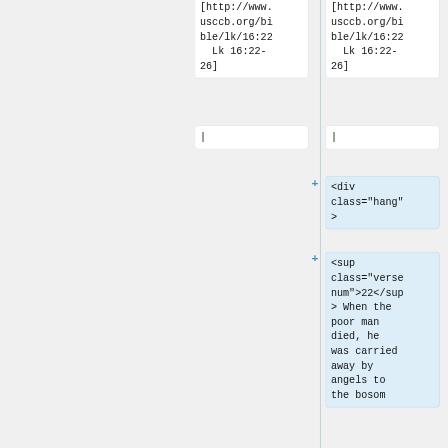[http://www.usccb.org/bible/lk/16:22 Lk 16:22-26]
[http://www.usccb.org/bible/lk/16:22 Lk 16:22-26]
|
|
<div class="hang">
<sup class="versenum">22</sup> When the poor man died, he was carried away by angels to the bosom